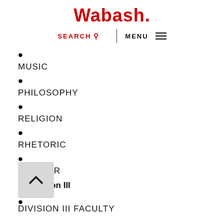Wabash.
SEARCH  MENU
MUSIC
PHILOSOPHY
RELIGION
RHETORIC
THEATER
Division III
DIVISION III FACULTY